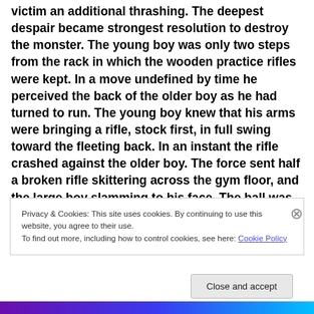victim an additional thrashing. The deepest despair became strongest resolution to destroy the monster. The young boy was only two steps from the rack in which the wooden practice rifles were kept. In a move undefined by time he perceived the back of the older boy as he had turned to run. The young boy knew that his arms were bringing a rifle, stock first, in full swing toward the fleeting back. In an instant the rifle crashed against the older boy. The force sent half a broken rifle skittering across the gym floor, and the large boy slamming to his face. The ball was no
Privacy & Cookies: This site uses cookies. By continuing to use this website, you agree to their use.
To find out more, including how to control cookies, see here: Cookie Policy
Close and accept